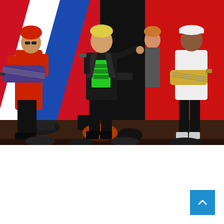[Figure (photo): Duran Duran performing on stage. Four band members visible: guitarist in red jacket on left, lead singer in black jacket with green t-shirt center holding microphone and pointing, keyboard player in background, guitarist in white suit on right. Background has red, white and blue diagonal stripe design.]
FASHION NEWS
Duran Duran pay homage to British fashion during